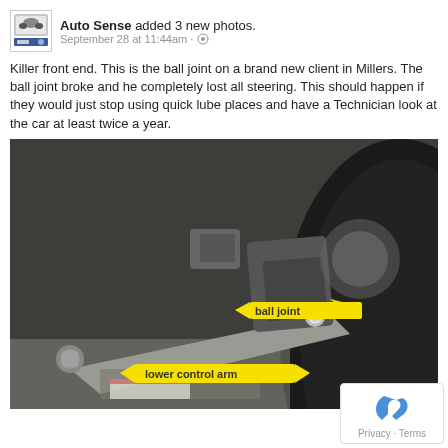Auto Sense added 3 new photos. September 28 at 11:44am
Killer front end. This is the ball joint on a brand new client in Millers. The ball joint broke and he completely lost all steering. This should happen if they would just stop using quick lube places and have a Technician look at the car at least twice a year.
[Figure (photo): Close-up photo of a broken car ball joint and lower control arm, with yellow arrow labels pointing to 'ball joint' and 'lower control arm']